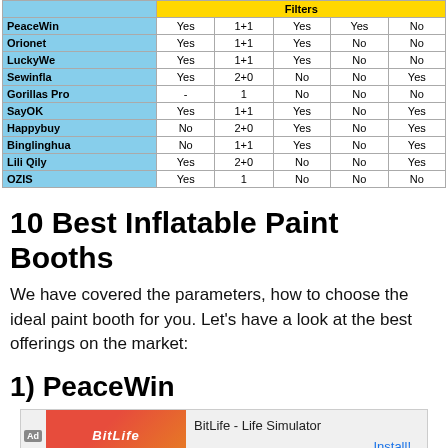|  | Filters |  |  |  |  |
| --- | --- | --- | --- | --- | --- |
| PeaceWin | Yes | 1+1 | Yes | Yes | No |
| Orionet | Yes | 1+1 | Yes | No | No |
| LuckyWe | Yes | 1+1 | Yes | No | No |
| Sewinfla | Yes | 2+0 | No | No | Yes |
| Gorillas Pro | - | 1 | No | No | No |
| SayOK | Yes | 1+1 | Yes | No | Yes |
| Happybuy | No | 2+0 | Yes | No | Yes |
| Binglinghua | No | 1+1 | Yes | No | Yes |
| Lili Qily | Yes | 2+0 | No | No | Yes |
| OZIS | Yes | 1 | No | No | No |
10 Best Inflatable Paint Booths
We have covered the parameters, how to choose the ideal paint booth for you. Let’s have a look at the best offerings on the market:
1) PeaceWin
[Figure (screenshot): Ad banner for BitLife - Life Simulator with Install button]
[Figure (photo): Product images showing inflatable paint booth blowers and a 1X1M Filter box]